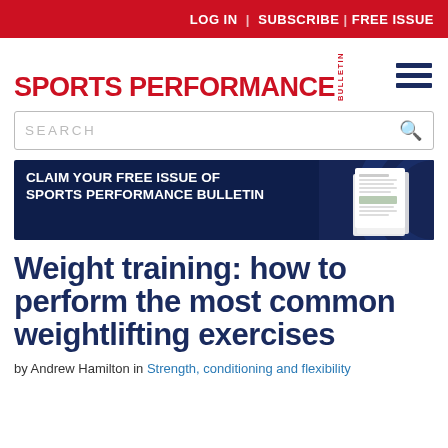LOG IN | SUBSCRIBE | FREE ISSUE
SPORTS PERFORMANCE BULLETIN
SEARCH
[Figure (infographic): Advertisement banner: CLAIM YOUR FREE ISSUE OF SPORTS PERFORMANCE BULLETIN — www.sportsperformancebulletin.com/free-issue/ with a magazine image on a dark navy background]
Weight training: how to perform the most common weightlifting exercises
by Andrew Hamilton in Strength, conditioning and flexibility